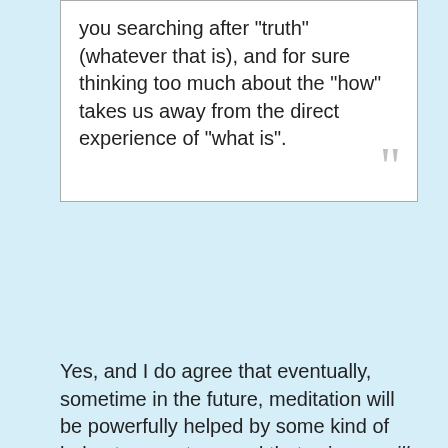you searching after "truth" (whatever that is), and for sure thinking too much about the "how" takes us away from the direct experience of "what is".
Yes, and I do agree that eventually, sometime in the future, meditation will be powerfully helped by some kind of helmet you put on, and that science will understand the mind to the point it also understands what the various kinds of meditation do... assuming we don't all die from an ecological catastrophe, which, come to think of it, seems likely to happen sooner 😟